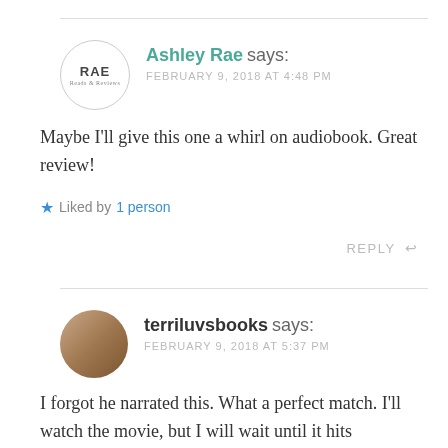Ashley Rae says: FEBRUARY 9, 2018 AT 4:48 PM
Maybe I'll give this one a whirl on audiobook. Great review!
Liked by 1 person
REPLY
terriluvsbooks says: FEBRUARY 9, 2018 AT 5:37 PM
I forgot he narrated this. What a perfect match. I'll watch the movie, but I will wait until it hits